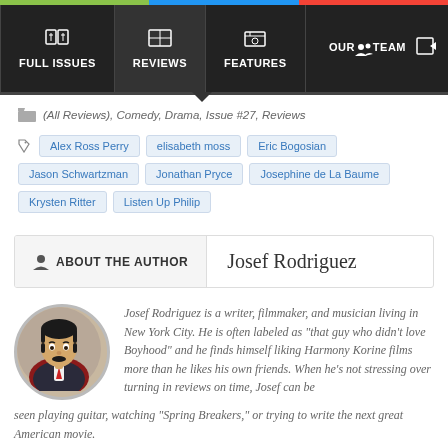FULL ISSUES | REVIEWS | FEATURES | OUR TEAM
(All Reviews), Comedy, Drama, Issue #27, Reviews
Alex Ross Perry  elisabeth moss  Eric Bogosian  Jason Schwartzman  Jonathan Pryce  Josephine de La Baume  Krysten Ritter  Listen Up Philip
ABOUT THE AUTHOR  Josef Rodriguez
Josef Rodriguez is a writer, filmmaker, and musician living in New York City. He is often labeled as "that guy who didn't love Boyhood" and he finds himself liking Harmony Korine films more than he likes his own friends. When he's not stressing over turning in reviews on time, Josef can be seen playing guitar, watching "Spring Breakers," or trying to write the next great American movie.